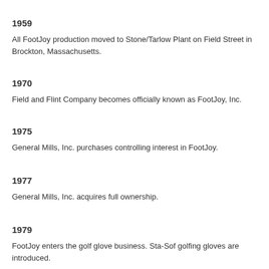1959
All FootJoy production moved to Stone/Tarlow Plant on Field Street in Brockton, Massachusetts.
1970
Field and Flint Company becomes officially known as FootJoy, Inc.
1975
General Mills, Inc. purchases controlling interest in FootJoy.
1977
General Mills, Inc. acquires full ownership.
1979
FootJoy enters the golf glove business.  Sta-Sof golfing gloves are introduced.